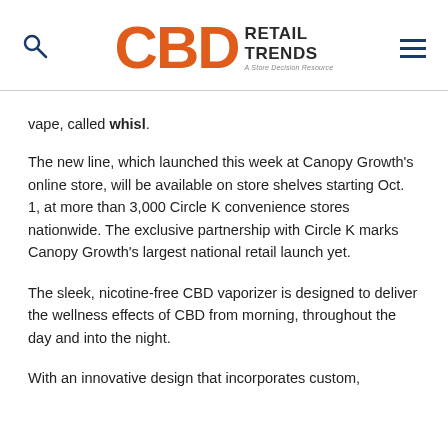CBD RETAIL TRENDS — A Store Decision Resource
vape, called whisl.
The new line, which launched this week at Canopy Growth's online store, will be available on store shelves starting Oct. 1, at more than 3,000 Circle K convenience stores nationwide. The exclusive partnership with Circle K marks Canopy Growth's largest national retail launch yet.
The sleek, nicotine-free CBD vaporizer is designed to deliver the wellness effects of CBD from morning, throughout the day and into the night.
With an innovative design that incorporates custom,